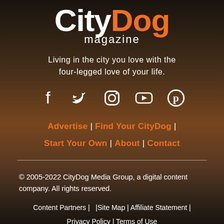CityDog magazine
Living in the city you love with the four-legged love of your life.
[Figure (infographic): Social media icons: Facebook, Twitter, Instagram, YouTube, Pinterest]
Advertise  |  Find Your CityDog  |  Start Your Own  |  About  |  Contact
© 2005-2022 CityDog Media Group, a digital content company. All rights reserved.
Content Partners  |   |Site Map  |  Affiliate Statement  |  Privacy Policy  |  Terms of Use